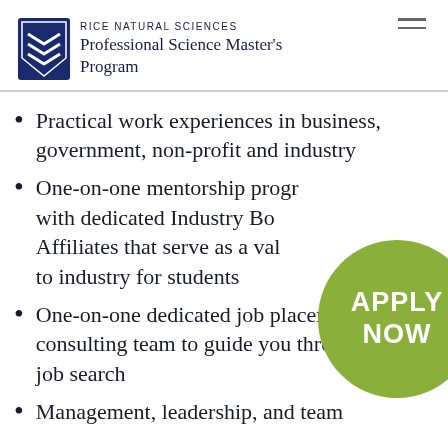RICE NATURAL SCIENCES Professional Science Master's Program
Practical work experiences in business, government, non-profit and industry
One-on-one mentorship program with dedicated Industry Board Affiliates that serve as a valuable link to industry for students
One-on-one dedicated job placement consulting team to guide you through your job search
Management, leadership, and team